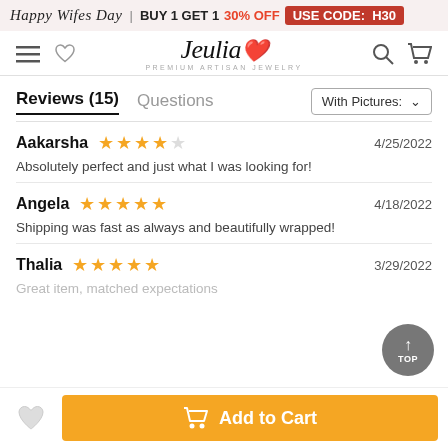Happy Wifes Day | BUY 1 GET 1 30% OFF USE CODE: H30
[Figure (logo): Jeulia Premium Artisan Jewelry logo with navigation icons]
Reviews (15)   Questions   With Pictures
Aakarsha   ★★★★☆   4/25/2022
Absolutely perfect and just what I was looking for!
Angela   ★★★★★   4/18/2022
Shipping was fast as always and beautifully wrapped!
Thalia   ★★★★★   3/29/2022
Great item, matched expectations
Add to Cart